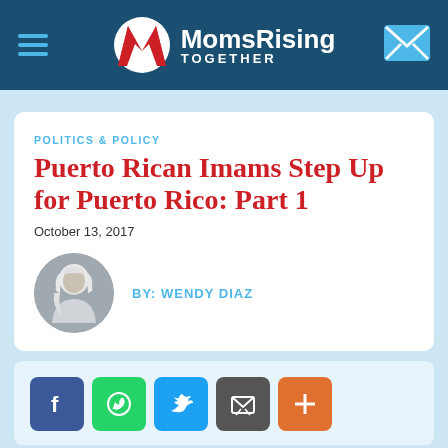MomsRising TOGETHER
POLITICS & POLICY
Puerto Rican Imams Step Up for Puerto Rico: Part 1
October 13, 2017
BY: Wendy Diaz
[Figure (infographic): Social share buttons: Facebook, WhatsApp, Twitter, Email, More]